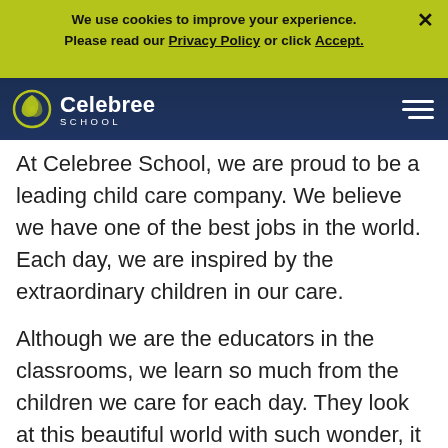We use cookies to improve your experience. Please read our Privacy Policy or click Accept.
[Figure (logo): Celebree School logo with icon on dark navy navigation bar]
At Celebree School, we are proud to be a leading child care company. We believe we have one of the best jobs in the world. Each day, we are inspired by the extraordinary children in our care.
Although we are the educators in the classrooms, we learn so much from the children we care for each day. They look at this beautiful world with such wonder, it reminds us to remain curious ourselves and to believe in one another and support one